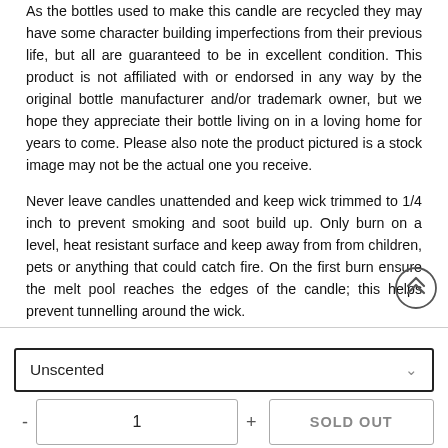As the bottles used to make this candle are recycled they may have some character building imperfections from their previous life, but all are guaranteed to be in excellent condition. This product is not affiliated with or endorsed in any way by the original bottle manufacturer and/or trademark owner, but we hope they appreciate their bottle living on in a loving home for years to come. Please also note the product pictured is a stock image may not be the actual one you receive.
Never leave candles unattended and keep wick trimmed to 1/4 inch to prevent smoking and soot build up. Only burn on a level, heat resistant surface and keep away from from children, pets or anything that could catch fire. On the first burn ensure the melt pool reaches the edges of the candle; this helps prevent tunnelling around the wick.
Unscented
1
SOLD OUT